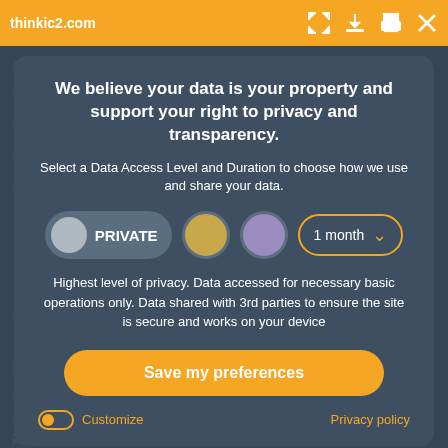thinkic2.com
We believe your data is your property and support your right to privacy and transparency.
Select a Data Access Level and Duration to choose how we use and share your data.
PRIVATE   1 month
Highest level of privacy. Data accessed for necessary basic operations only. Data shared with 3rd parties to ensure the site is secure and works on your device
Save my preferences
Customize   Privacy policy